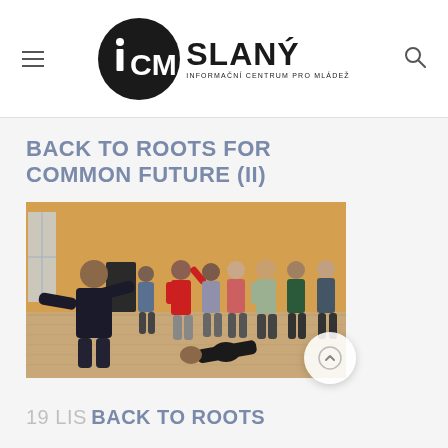iCM SLANÝ – Informační centrum pro mládež
BACK TO ROOTS FOR COMMON FUTURE (II)
[Figure (photo): Group of young people dancing and playing in a room with orange walls and wooden floor. One person in a black jacket is in the foreground, others are in various dancing poses in the background.]
19 LIS BACK TO ROOTS